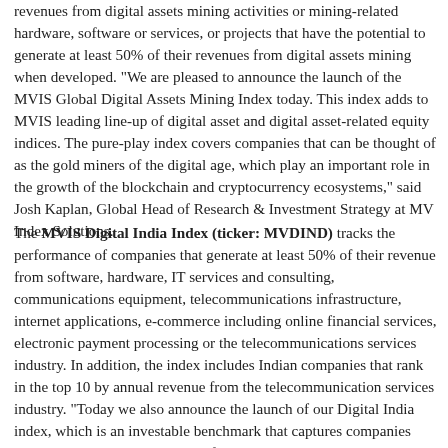revenues from digital assets mining activities or mining-related hardware, software or services, or projects that have the potential to generate at least 50% of their revenues from digital assets mining when developed. "We are pleased to announce the launch of the MVIS Global Digital Assets Mining Index today. This index adds to MVIS leading line-up of digital asset and digital asset-related equity indices. The pure-play index covers companies that can be thought of as the gold miners of the digital age, which play an important role in the growth of the blockchain and cryptocurrency ecosystems," said Josh Kaplan, Global Head of Research & Investment Strategy at MV Index Solutions.
The MVIS Digital India Index (ticker: MVDIND) tracks the performance of companies that generate at least 50% of their revenue from software, hardware, IT services and consulting, communications equipment, telecommunications infrastructure, internet applications, e-commerce including online financial services, electronic payment processing or the telecommunications services industry. In addition, the index includes Indian companies that rank in the top 10 by annual revenue from the telecommunication services industry. "Today we also announce the launch of our Digital India index, which is an investable benchmark that captures companies contributing to the digitization of India. The index utilizes MVIS' unique approach to company-to-country classifications by including Indian companies regardless of listing venue. India, one of the largest Emerging Markets, presents a unique opportunity given its